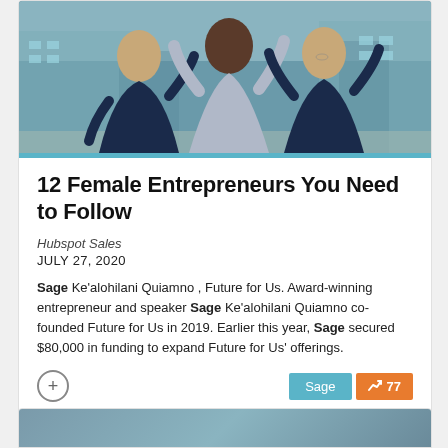[Figure (photo): Three smiling women in business attire with arms raised in celebration, standing outdoors in front of a building]
12 Female Entrepreneurs You Need to Follow
Hubspot Sales
JULY 27, 2020
Sage Ke'alohilani Quiamno , Future for Us. Award-winning entrepreneur and speaker Sage Ke'alohilani Quiamno co-founded Future for Us in 2019. Earlier this year, Sage secured $80,000 in funding to expand Future for Us' offerings.